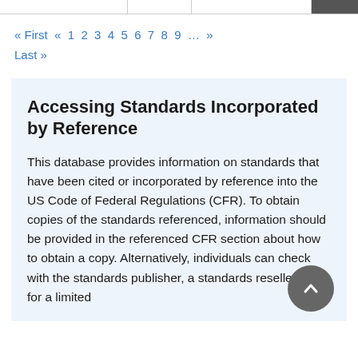« First  «  1  2  3  4  5  6  7  8  9  …  »  Last »
Accessing Standards Incorporated by Reference
This database provides information on standards that have been cited or incorporated by reference into the US Code of Federal Regulations (CFR). To obtain copies of the standards referenced, information should be provided in the referenced CFR section about how to obtain a copy. Alternatively, individuals can check with the standards publisher, a standards resellers or for a limited